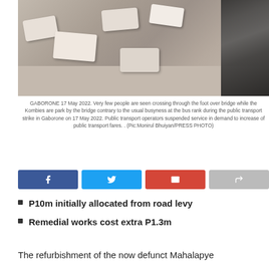[Figure (photo): Aerial view of a bus rank parking area with several minibuses/kombis parked, taken from a foot-over bridge with a dark railing visible on the right side. Location: Gaborone, 17 May 2022.]
GABORONE 17 May 2022. Very few people are seen crossing through the foot over bridge while the Kombies are park by the bridge contrary to the usual busyness at the bus rank during the public transport strike in Gaborone on 17 May 2022. Public transport operators suspended service in demand to increase of public transport fares. . (Pic:Monirul Bhuiyan/PRESS PHOTO)
P10m initially allocated from road levy
Remedial works cost extra P1.3m
The refurbishment of the now defunct Mahalapye